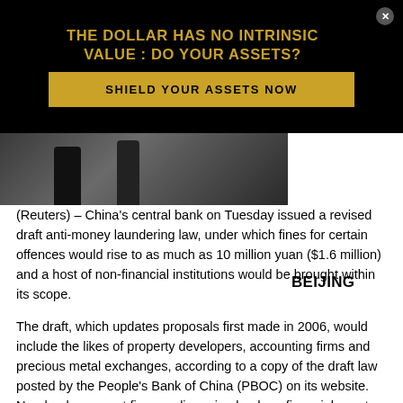THE DOLLAR HAS NO INTRINSIC VALUE : DO YOUR ASSETS?
SHIELD YOUR ASSETS NOW
[Figure (photo): Photograph of people walking, shown as a dark strip across the page. To the right of the image the word BEIJING appears.]
BEIJING (Reuters) – China's central bank on Tuesday issued a revised draft anti-money laundering law, under which fines for certain offences would rise to as much as 10 million yuan ($1.6 million) and a host of non-financial institutions would be brought within its scope.
The draft, which updates proposals first made in 2006, would include the likes of property developers, accounting firms and precious metal exchanges, according to a copy of the draft law posted by the People's Bank of China (PBOC) on its website. Non-bank payment firms, online microlenders, financial asset management firms and financial leasing companies will also be included.